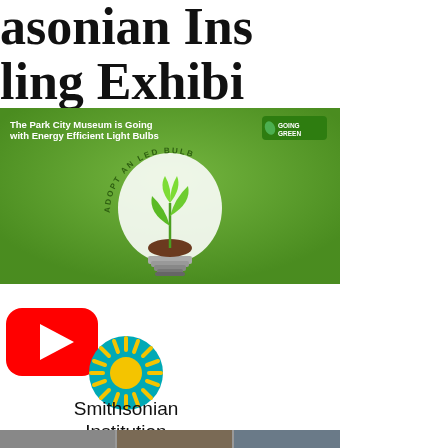asonian Ins
ling Exhibi
[Figure (infographic): Green infographic: 'The Park City Museum is Going Green with Energy Efficient Light Bulbs' with an LED bulb containing a plant, text about adopting an LED bulb and museum lighting benefits, ADOPT AN LED BULB arc text, green background with white text.]
[Figure (logo): YouTube logo button: red rounded rectangle with white play triangle]
[Figure (logo): Smithsonian Institution sunburst logo: teal circle with yellow sun in center]
Smithsonian Institution
[Figure (photo): Partial bottom strip showing thumbnails of photos, cropped at bottom of page]